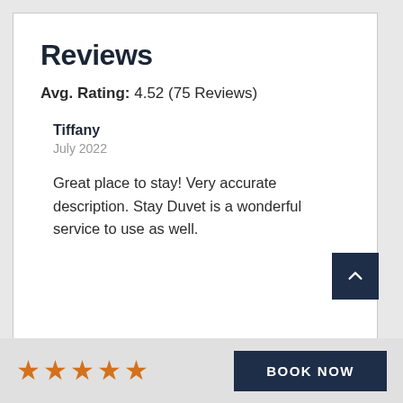Reviews
Avg. Rating: 4.52 (75 Reviews)
Tiffany
July 2022
Great place to stay! Very accurate description. Stay Duvet is a wonderful service to use as well.
[Figure (other): Five orange/gold star rating icons displayed in a row at the bottom of the page]
BOOK NOW